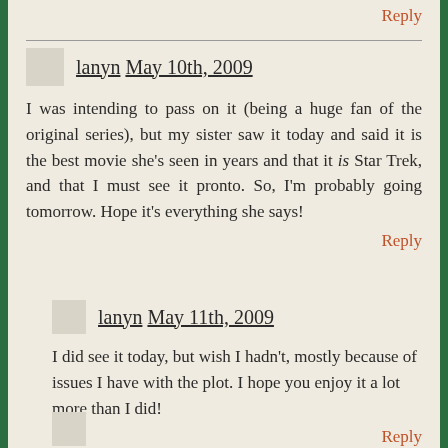Reply
lanyn May 10th, 2009
I was intending to pass on it (being a huge fan of the original series), but my sister saw it today and said it is the best movie she’s seen in years and that it is Star Trek, and that I must see it pronto. So, I’m probably going tomorrow. Hope it’s everything she says!
Reply
lanyn May 11th, 2009
I did see it today, but wish I hadn’t, mostly because of issues I have with the plot. I hope you enjoy it a lot more than I did!
Reply